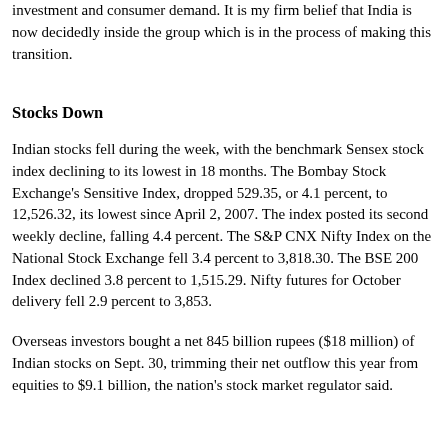investment and consumer demand. It is my firm belief that India is now decidedly inside the group which is in the process of making this transition.
Stocks Down
Indian stocks fell during the week, with the benchmark Sensex stock index declining to its lowest in 18 months. The Bombay Stock Exchange's Sensitive Index, dropped 529.35, or 4.1 percent, to 12,526.32, its lowest since April 2, 2007. The index posted its second weekly decline, falling 4.4 percent. The S&P CNX Nifty Index on the National Stock Exchange fell 3.4 percent to 3,818.30. The BSE 200 Index declined 3.8 percent to 1,515.29. Nifty futures for October delivery fell 2.9 percent to 3,853.
Overseas investors bought a net 845 billion rupees ($18 million) of Indian stocks on Sept. 30, trimming their net outflow this year from equities to $9.1 billion, the nation's stock market regulator said.